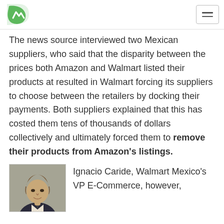[Logo] [Hamburger menu]
The news source interviewed two Mexican suppliers, who said that the disparity between the prices both Amazon and Walmart listed their products at resulted in Walmart forcing its suppliers to choose between the retailers by docking their payments. Both suppliers explained that this has costed them tens of thousands of dollars collectively and ultimately forced them to remove their products from Amazon's listings.
[Figure (photo): Headshot photo of Ignacio Caride, a man with medium-length hair, wearing a suit.]
Ignacio Caride, Walmart Mexico's VP E-Commerce, however,